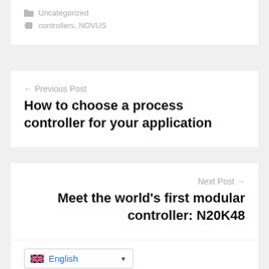Uncategorized
controllers, NOVUS
← Previous Post
How to choose a process controller for your application
Next Post →
Meet the world's first modular controller: N20K48
English